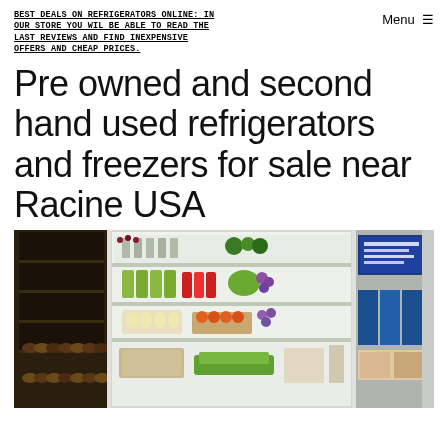BEST DEALS ON REFRIGERATORS ONLINE: IN OUR STORE YOU WIL BE ABLE TO READ THE LAST REVIEWS AND FIND INEXPENSIVE OFFERS AND CHEAP PRICES.
Pre owned and second hand used refrigerators and freezers for sale near Racine USA
[Figure (photo): Open refrigerator and wine cooler stocked with food, beverages, bottles, fruits, and dairy products]